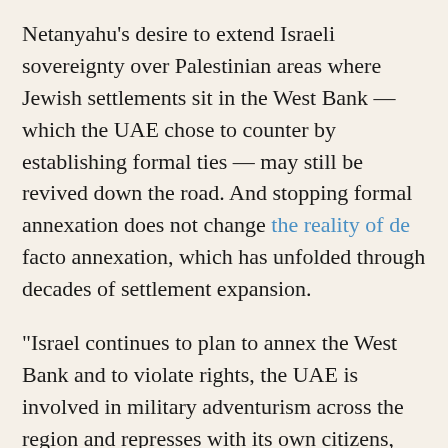Netanyahu's desire to extend Israeli sovereignty over Palestinian areas where Jewish settlements sit in the West Bank — which the UAE chose to counter by establishing formal ties — may still be revived down the road. And stopping formal annexation does not change the reality of de facto annexation, which has unfolded through decades of settlement expansion.
"Israel continues to plan to annex the West Bank and to violate rights, the UAE is involved in military adventurism across the region and represses with its own citizens, and Trump is primarily concerned with his personal business arrangements while attacking peaceful protesters at home," said Kharroub of the Arab Center Washington DC, a think tank. "This agreement is a PR boost for the three leaders and their political survival."
"All they've done now is take their ties public with the promise to develop them further, albeit with — at Emirati insistence — some co...